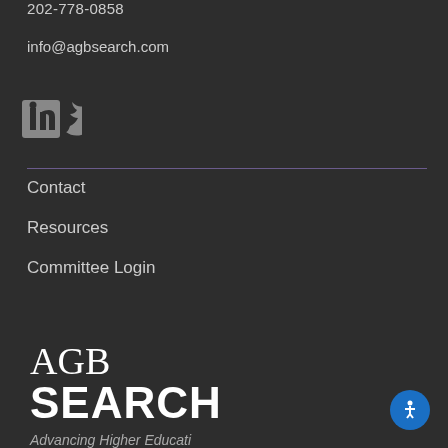202-778-0858
info@agbsearch.com
[Figure (illustration): LinkedIn and Twitter social media icons in gray]
Contact
Resources
Committee Login
[Figure (logo): AGB Search logo with AGB in serif font and SEARCH in bold sans-serif]
Advancing Higher Education